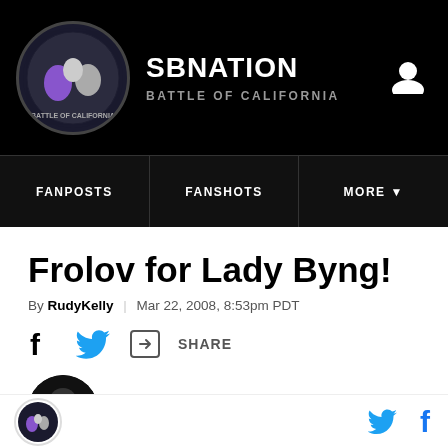SB NATION - BATTLE OF CALIFORNIA
FANPOSTS | FANSHOTS | MORE
Frolov for Lady Byng!
By RudyKelly | Mar 22, 2008, 8:53pm PDT
Battle of California logo - Twitter - Facebook